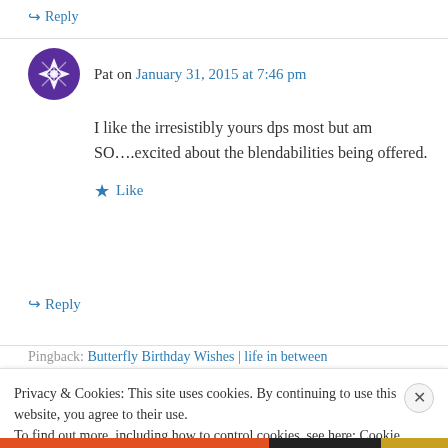↪ Reply
Pat on January 31, 2015 at 7:46 pm
I like the irresistibly yours dps most but am SO….excited about the blendabilities being offered.
★ Like
↪ Reply
Pingback: Butterfly Birthday Wishes | life in between
Privacy & Cookies: This site uses cookies. By continuing to use this website, you agree to their use.
To find out more, including how to control cookies, see here: Cookie Policy
Close and accept